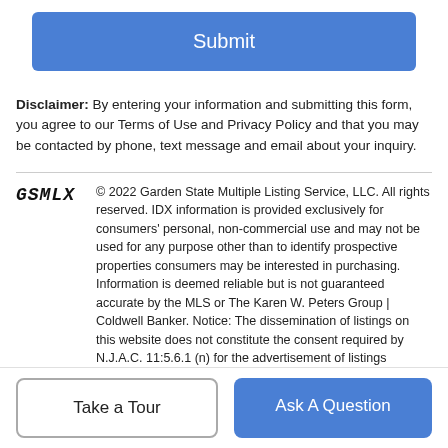[Figure (other): Blue Submit button]
Disclaimer: By entering your information and submitting this form, you agree to our Terms of Use and Privacy Policy and that you may be contacted by phone, text message and email about your inquiry.
© 2022 Garden State Multiple Listing Service, LLC. All rights reserved. IDX information is provided exclusively for consumers' personal, non-commercial use and may not be used for any purpose other than to identify prospective properties consumers may be interested in purchasing. Information is deemed reliable but is not guaranteed accurate by the MLS or The Karen W. Peters Group | Coldwell Banker. Notice: The dissemination of listings on this website does not constitute the consent required by N.J.A.C. 11:5.6.1 (n) for the advertisement of listings exclusively for sale by another broker. Any such consent must be obtained in writing from the listing broker.The data relating to real estate for sale or lease on this web site comes in part from GSMLS. Real estate listings held by brokerage firms other than The Karen W. Peters Group | Coldwell Banker are marked with the
[Figure (other): Take a Tour button and Ask A Question button at bottom]